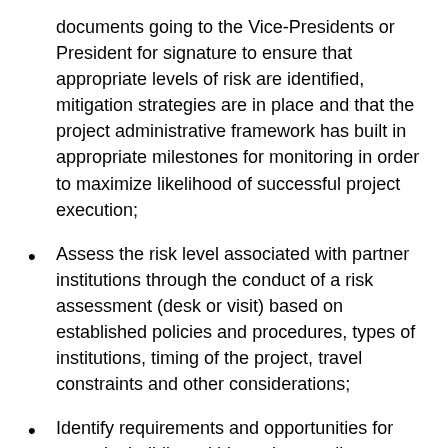documents going to the Vice-Presidents or President for signature to ensure that appropriate levels of risk are identified, mitigation strategies are in place and that the project administrative framework has built in appropriate milestones for monitoring in order to maximize likelihood of successful project execution;
Assess the risk level associated with partner institutions through the conduct of a risk assessment (desk or visit) based on established policies and procedures, types of institutions, timing of the project, travel constraints and other considerations;
Identify requirements and opportunities for capacity-building within project applicant